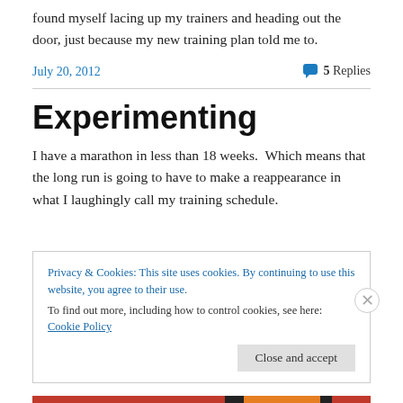found myself lacing up my trainers and heading out the door, just because my new training plan told me to.
July 20, 2012
5 Replies
Experimenting
I have a marathon in less than 18 weeks.  Which means that the long run is going to have to make a reappearance in what I laughingly call my training schedule.
Privacy & Cookies: This site uses cookies. By continuing to use this website, you agree to their use.
To find out more, including how to control cookies, see here: Cookie Policy
Close and accept